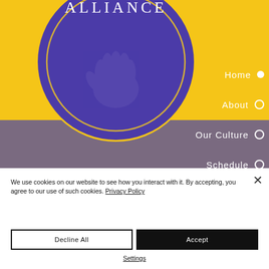[Figure (logo): Alliance circular logo with purple background, yellow border, white text 'ALLIANCE' and handprint watermark on yellow background]
Home ●
About ○
Our Culture ○
Schedule ○
We use cookies on our website to see how you interact with it. By accepting, you agree to our use of such cookies. Privacy Policy
Decline All
Accept
Settings